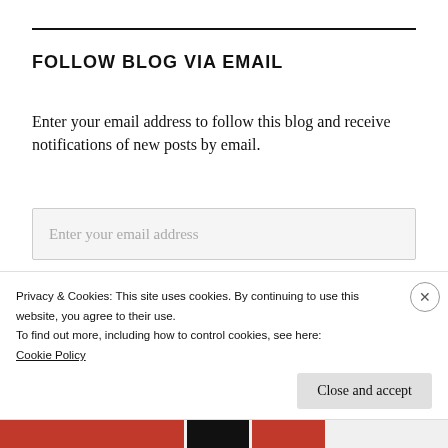FOLLOW BLOG VIA EMAIL
Enter your email address to follow this blog and receive notifications of new posts by email.
Enter your email address
FOLLOW
Privacy & Cookies: This site uses cookies. By continuing to use this website, you agree to their use.
To find out more, including how to control cookies, see here:
Cookie Policy
Close and accept